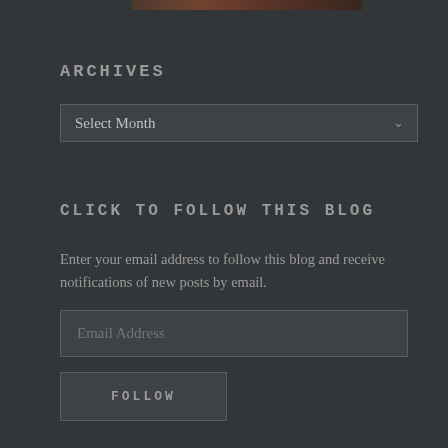ARCHIVES
Select Month
CLICK TO FOLLOW THIS BLOG
Enter your email address to follow this blog and receive notifications of new posts by email.
Email Address
FOLLOW